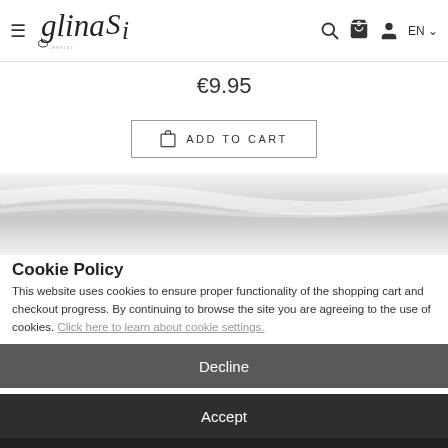≡ glinaSi  EN
€9.95
ADD TO CART
[Figure (photo): Satin ribbon or fabric product image, light grey/white sheen]
Cookie Policy
This website uses cookies to ensure proper functionality of the shopping cart and checkout progress. By continuing to browse the site you are agreeing to the use of cookies. Click here to learn about cookie settings.
Decline
Accept